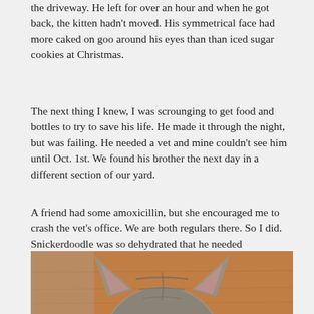the driveway. He left for over an hour and when he got back, the kitten hadn't moved. His symmetrical face had more caked on goo around his eyes than than iced sugar cookies at Christmas.
The next thing I knew, I was scrounging to get food and bottles to try to save his life. He made it through the night, but was failing. He needed a vet and mine couldn't see him until Oct. 1st. We found his brother the next day in a different section of our yard.
A friend had some amoxicillin, but she encouraged me to crash the vet's office. We are both regulars there. So I did. Snickerdoodle was so dehydrated that he needed intravenous fluids. Six days later, little Snickerdoodle looked like this. He and his brother need a wonderful symmetrical home, if you know of one, please contact me.
[Figure (photo): Photo of a kitten's head and ears viewed from above, with grey/brown fur, on a wooden surface. Only the top portion of the kitten's head and pointed ears are visible.]